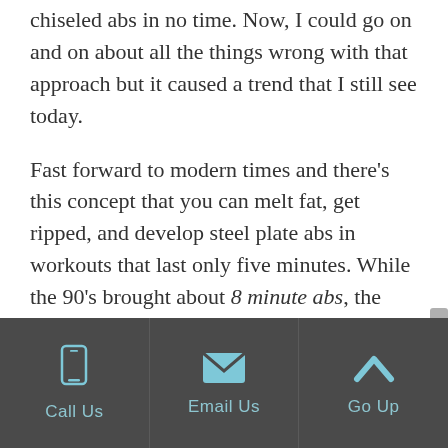chiseled abs in no time. Now, I could go on and on about all the things wrong with that approach but it caused a trend that I still see today.
Fast forward to modern times and there's this concept that you can melt fat, get ripped, and develop steel plate abs in workouts that last only five minutes. While the 90's brought about 8 minute abs, the internet has popularized what I call the "4 minute workout myth."
The myth works like this: a researcher way back
[Figure (infographic): Dark grey footer bar with three columns: phone icon and 'Call Us', envelope icon and 'Email Us', chevron-up icon and 'Go Up', separated by vertical dividers]